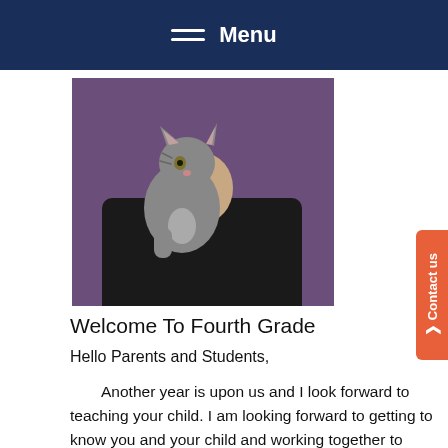Menu
[Figure (photo): A person in a black shirt holding a gray tabby cat against a purple background.]
Welcome To Fourth Grade
Hello Parents and Students,
Another year is upon us and I look forward to teaching your child. I am looking forward to getting to know you and your child and working together to help your child succeed. As parents and guardians, I